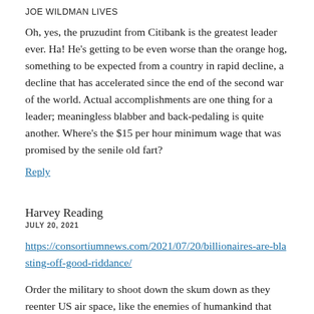JOE WILDMAN LIVES
Oh, yes, the pruzudint from Citibank is the greatest leader ever. Ha! He's getting to be even worse than the orange hog, something to be expected from a country in rapid decline, a decline that has accelerated since the end of the second war of the world. Actual accomplishments are one thing for a leader; meaningless blabber and back-pedaling is quite another. Where's the $15 per hour minimum wage that was promised by the senile old fart?
Reply
Harvey Reading
JULY 20, 2021
https://consortiumnews.com/2021/07/20/billionaires-are-blasting-off-good-riddance/
Order the military to shoot down the skum down as they reenter US air space, like the enemies of humankind that they truly are, then seize all their wealth and set up trust funds for programs that benefit everyone. If they reenter as other than ...